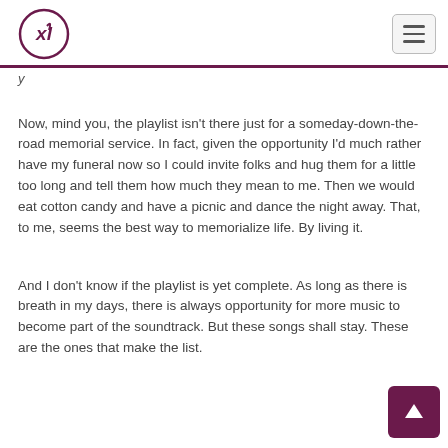XL logo and navigation hamburger menu
Now, mind you, the playlist isn't there just for a someday-down-the-road memorial service. In fact, given the opportunity I'd much rather have my funeral now so I could invite folks and hug them for a little too long and tell them how much they mean to me. Then we would eat cotton candy and have a picnic and dance the night away. That, to me, seems the best way to memorialize life. By living it.
And I don't know if the playlist is yet complete. As long as there is breath in my days, there is always opportunity for more music to become part of the soundtrack. But these songs shall stay. These are the ones that make the list.